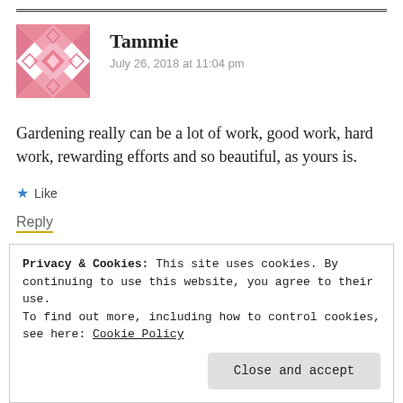[Figure (illustration): Pink decorative avatar icon with geometric quilt-like pattern of triangles and diamonds]
Tammie
July 26, 2018 at 11:04 pm
Gardening really can be a lot of work, good work, hard work, rewarding efforts and so beautiful, as yours is.
★ Like
Reply
Privacy & Cookies: This site uses cookies. By continuing to use this website, you agree to their use.
To find out more, including how to control cookies, see here: Cookie Policy
Close and accept